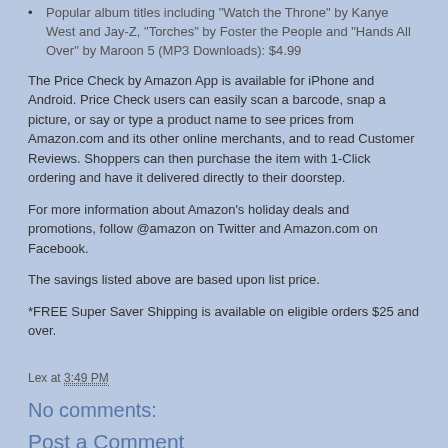Popular album titles including "Watch the Throne" by Kanye West and Jay-Z, "Torches" by Foster the People and "Hands All Over" by Maroon 5 (MP3 Downloads): $4.99
The Price Check by Amazon App is available for iPhone and Android. Price Check users can easily scan a barcode, snap a picture, or say or type a product name to see prices from Amazon.com and its other online merchants, and to read Customer Reviews. Shoppers can then purchase the item with 1-Click ordering and have it delivered directly to their doorstep.
For more information about Amazon's holiday deals and promotions, follow @amazon on Twitter and Amazon.com on Facebook.
The savings listed above are based upon list price.
*FREE Super Saver Shipping is available on eligible orders $25 and over.
Lex at 3:49 PM
No comments:
Post a Comment